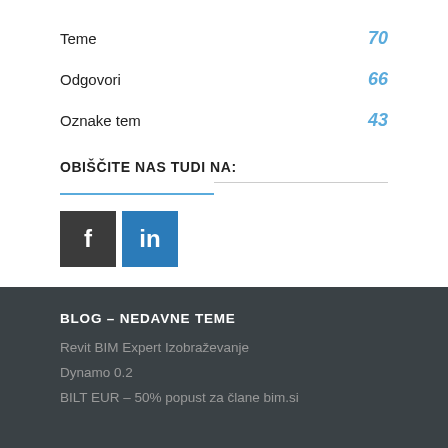Teme  70
Odgovori  66
Oznake tem  43
OBIŠČITE NAS TUDI NA:
[Figure (logo): Facebook icon (dark gray square with white 'f') and LinkedIn icon (blue square with white 'in')]
BLOG – NEDAVNE TEME
Revit BIM Expert Izobraževanje
Dynamo 0.2
BILT EUR – 50% popust za člane bim.si